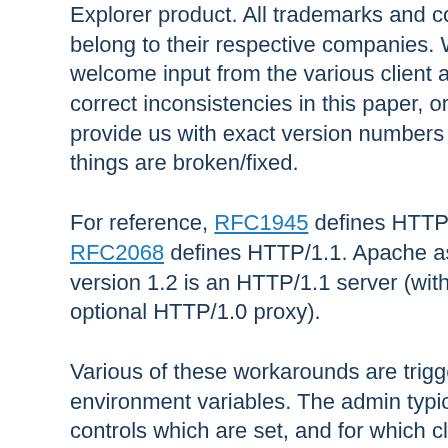Explorer product. All trademarks and copyrights belong to their respective companies. We welcome input from the various client authors to correct inconsistencies in this paper, or to provide us with exact version numbers where things are broken/fixed.
For reference, RFC1945 defines HTTP/1.0, and RFC2068 defines HTTP/1.1. Apache as of version 1.2 is an HTTP/1.1 server (with an optional HTTP/1.0 proxy).
Various of these workarounds are triggered by environment variables. The admin typically controls which are set, and for which clients, by using mod_browser. Unless otherwise noted all of these workarounds exist in versions 1.2 and later.